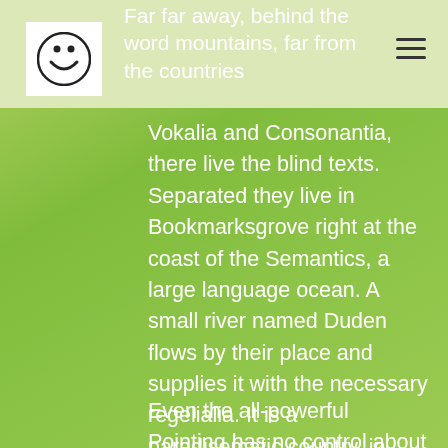Far far away, behind the word mountains, far from the countries
[Figure (logo): Circular logo with letter ö (o with umlaut) in black on white background]
Vokalia and Consonantia, there live the blind texts. Separated they live in Bookmarksgrove right at the coast of the Semantics, a large language ocean. A small river named Duden flows by their place and supplies it with the necessary regelialia. It is a paradisematic country, in which roasted parts of sentences fly into your mouth.
Even the all-powerful Pointing has no control about the blind texts it is an